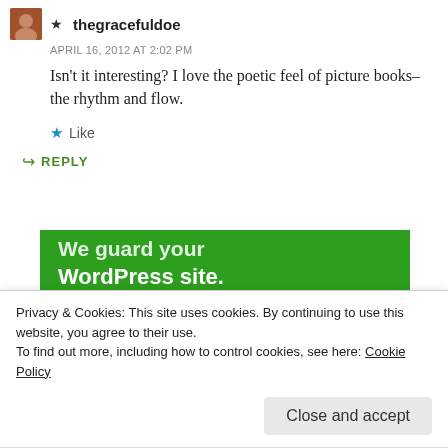★ thegracefuldoe
APRIL 16, 2012 AT 2:02 PM
Isn't it interesting? I love the poetic feel of picture books–the rhythm and flow.
★ Like
↳ REPLY
[Figure (other): Green WordPress advertisement banner with text 'We guard your WordPress site. You run your business.']
Privacy & Cookies: This site uses cookies. By continuing to use this website, you agree to their use.
To find out more, including how to control cookies, see here: Cookie Policy
Close and accept